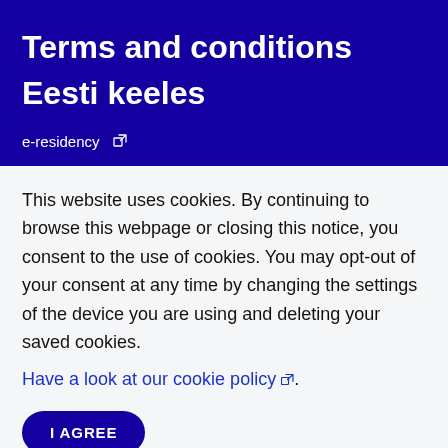Terms and conditions
Eesti keeles
e-residency ↗
This website uses cookies. By continuing to browse this webpage or closing this notice, you consent to the use of cookies. You may opt-out of your consent at any time by changing the settings of the device you are using and deleting your saved cookies.
Have a look at our cookie policy ↗.
I AGREE